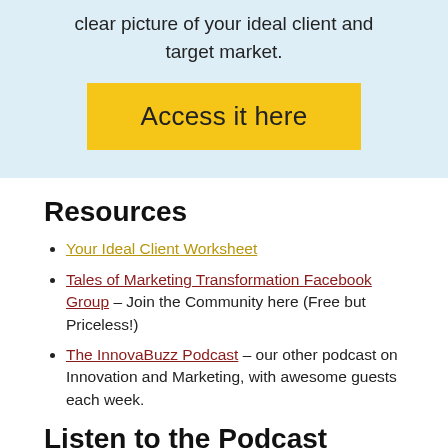clear picture of your ideal client and target market.
[Figure (other): Yellow button with text 'Access it here']
Resources
Your Ideal Client Worksheet
Tales of Marketing Transformation Facebook Group – Join the Community here (Free but Priceless!)
The InnovaBuzz Podcast – our other podcast on Innovation and Marketing, with awesome guests each week.
Listen to the Podcast